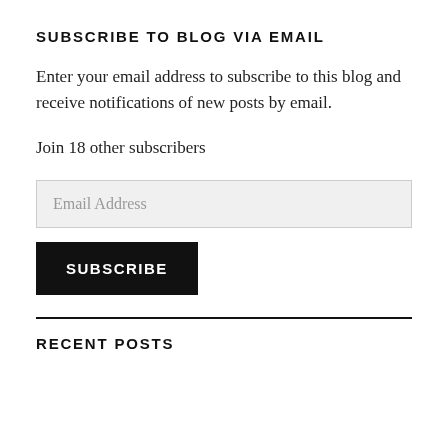SUBSCRIBE TO BLOG VIA EMAIL
Enter your email address to subscribe to this blog and receive notifications of new posts by email.
Join 18 other subscribers
[Figure (other): Email Address input field (light gray background, placeholder text 'Email Address')]
[Figure (other): SUBSCRIBE button (black background, white bold uppercase text)]
RECENT POSTS